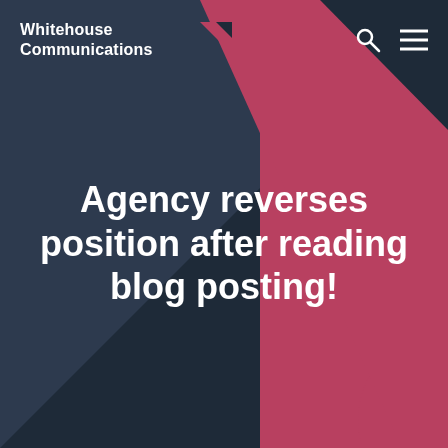[Figure (logo): Whitehouse Communications logo with white text and small geometric arrow icon]
Agency reverses position after reading blog posting!